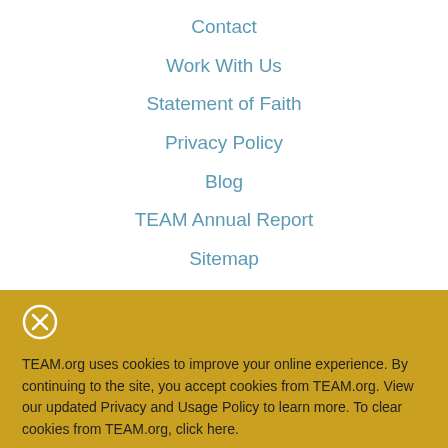Contact
Work With Us
Statement of Faith
Privacy Policy
Blog
TEAM Annual Report
Sitemap
TEAM.org uses cookies to improve your online experience. By continuing to the site, you accept cookies from TEAM.org. View our updated Privacy and Usage Policy to learn more. To clear cookies from TEAM.org, click here.